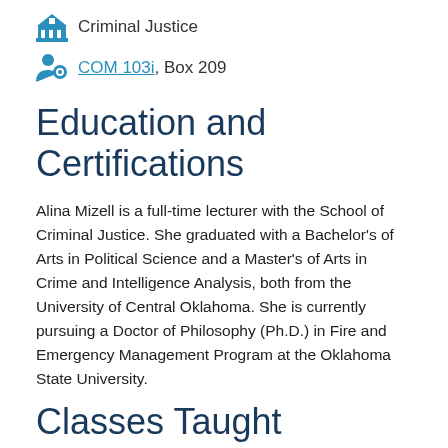Criminal Justice
COM 103i, Box 209
Education and Certifications
Alina Mizell is a full-time lecturer with the School of Criminal Justice. She graduated with a Bachelor's of Arts in Political Science and a Master's of Arts in Crime and Intelligence Analysis, both from the University of Central Oklahoma. She is currently pursuing a Doctor of Philosophy (Ph.D.) in Fire and Emergency Management Program at the Oklahoma State University.
Classes Taught
The courses I teach are "Careers and Technologies in Criminal Justice", "Victimology", "Delinquent Child